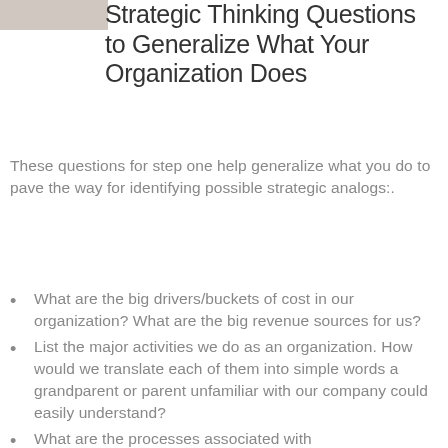[Figure (photo): Partial image of a person, cropped at top-left corner of page]
Strategic Thinking Questions to Generalize What Your Organization Does
These questions for step one help generalize what you do to pave the way for identifying possible strategic analogs:.
What are the big drivers/buckets of cost in our organization? What are the big revenue sources for us?
List the major activities we do as an organization. How would we translate each of them into simple words a grandparent or parent unfamiliar with our company could easily understand?
What are the processes associated with